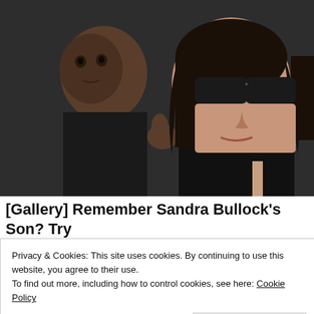[Figure (photo): A woman with long dark hair wearing dark sunglasses holding a young child dressed in black. Close-up paparazzi-style photo.]
[Gallery] Remember Sandra Bullock's Son? Try Not To Gasp When You See How He Looks Now
Privacy & Cookies: This site uses cookies. By continuing to use this website, you agree to their use.
To find out more, including how to control cookies, see here: Cookie Policy
Close and accept